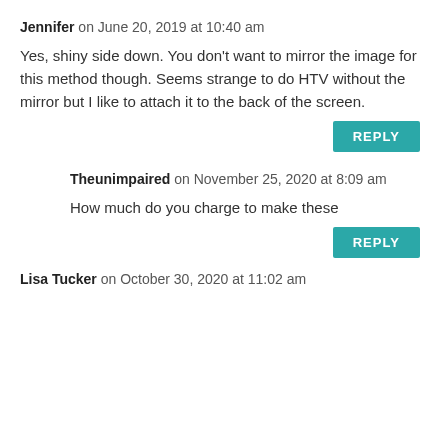Jennifer on June 20, 2019 at 10:40 am
Yes, shiny side down. You don’t want to mirror the image for this method though. Seems strange to do HTV without the mirror but I like to attach it to the back of the screen.
REPLY
Theunimpaired on November 25, 2020 at 8:09 am
How much do you charge to make these
REPLY
Lisa Tucker on October 30, 2020 at 11:02 am